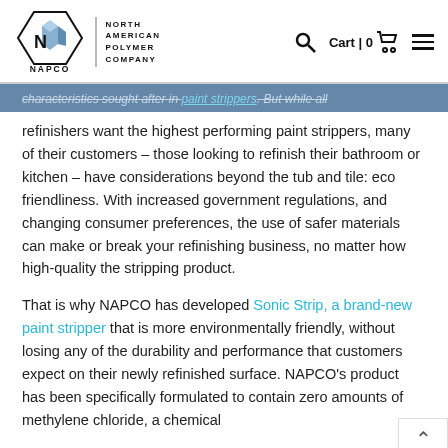NAPCO | NORTH AMERICAN POLYMER COMPANY — Cart | 0
characteristics sought after in paint strippers. But while all refinishers want the highest performing paint strippers, many of their customers – those looking to refinish their bathroom or kitchen – have considerations beyond the tub and tile: eco friendliness. With increased government regulations, and changing consumer preferences, the use of safer materials can make or break your refinishing business, no matter how high-quality the stripping product.
That is why NAPCO has developed Sonic Strip, a brand-new paint stripper that is more environmentally friendly, without losing any of the durability and performance that customers expect on their newly refinished surface. NAPCO's product has been specifically formulated to contain zero amounts of methylene chloride, a chemical